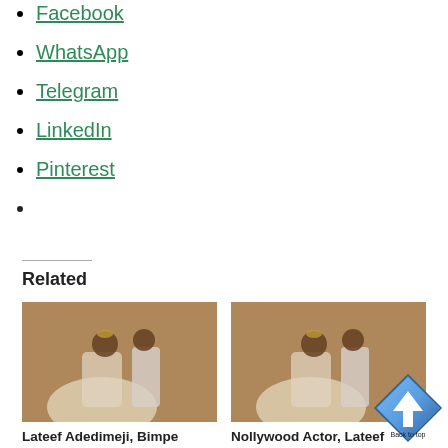Facebook
WhatsApp
Telegram
LinkedIn
Pinterest
Related
[Figure (photo): Wedding photo of Lateef Adedimeji and Bimpe Oyebade]
Lateef Adedimeji, Bimpe Oyebade Finally Announce Wedding Date
[Figure (photo): Wedding photo of Lateef Adedimeji and Bimpe Oyebade, second image]
Nollywood Actor, Lateef Adedimeji Speaks About Plan To Marry Actress Bimpe
[Figure (other): Back to top button arrow icon]